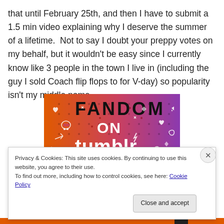that until February 25th, and then I have to submit a 1.5 min video explaining why I deserve the summer of a lifetime.  Not to say I doubt your preppy votes on my behalf, but it wouldn't be easy since I currently know like 3 people in the town I live in (including the guy I sold Coach flip flops to for V-day) so popularity isn't my middle name.
[Figure (screenshot): Tumblr 'Fandom on Tumblr' banner image with colorful orange-to-purple gradient background and white doodle icons (skull, music notes, hearts, arrows). Text reads 'FANDOM ON tumblr' in large black and white lettering.]
Privacy & Cookies: This site uses cookies. By continuing to use this website, you agree to their use.
To find out more, including how to control cookies, see here: Cookie Policy